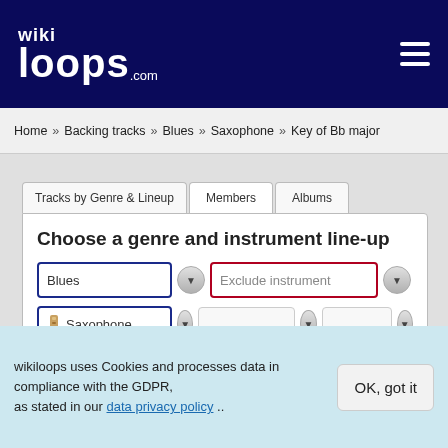[Figure (logo): wikiloops.com logo in white on dark navy background with hamburger menu icon]
Home » Backing tracks » Blues » Saxophone » Key of Bb major
Tracks by Genre & Lineup | Members | Albums
Choose a genre and instrument line-up
Blues [dropdown] Exclude instrument [dropdown]
Saxophone [dropdown] [empty dropdown] [empty dropdown]
Line-up matching mode: ● exact ○ loose
Filter by key, time signature and tempo
wikiloops uses Cookies and processes data in compliance with the GDPR, as stated in our data privacy policy ..
OK, got it